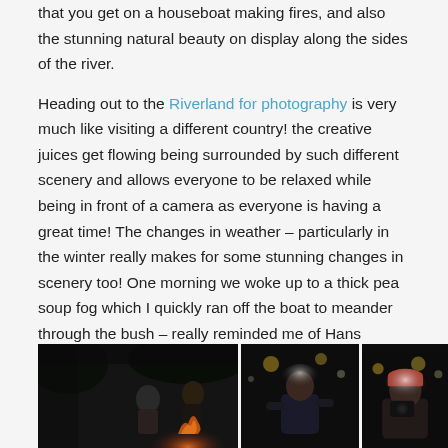that you get on a houseboat making fires, and also the stunning natural beauty on display along the sides of the river.
Heading out to the Riverland for photography is very much like visiting a different country! the creative juices get flowing being surrounded by such different scenery and allows everyone to be relaxed while being in front of a camera as everyone is having a great time! The changes in weather – particularly in the winter really makes for some stunning changes in scenery too! One morning we woke up to a thick pea soup fog which I quickly ran off the boat to meander through the bush – really reminded me of Hans Heysen's paintings.
[Figure (photo): Three dark nighttime photographs of people on a houseboat making fires, arranged side by side]